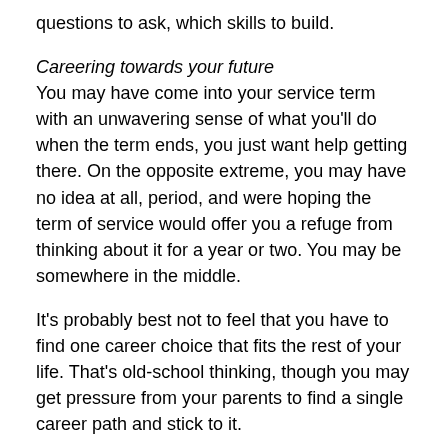questions to ask, which skills to build.
Careering towards your future
You may have come into your service term with an unwavering sense of what you'll do when the term ends, you just want help getting there. On the opposite extreme, you may have no idea at all, period, and were hoping the term of service would offer you a refuge from thinking about it for a year or two. You may be somewhere in the middle.
It's probably best not to feel that you have to find one career choice that fits the rest of your life. That's old-school thinking, though you may get pressure from your parents to find a single career path and stick to it.
If you are participating in a service term at mid-career, you